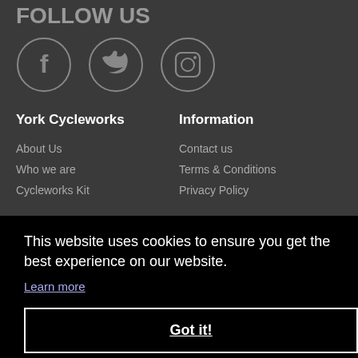FOLLOW US
[Figure (illustration): Three social media icons in circles on dark background: Facebook (f), Twitter (bird), Instagram (camera)]
York Cycleworks
Information
About Us
Who we are
Cycleworks Kit
Contact us
Terms & Conditions
Privacy Policy
This website uses cookies to ensure you get the best experience on our website.
Learn more
Got it!
[Figure (logo): Payment logos: VISA, MasterCard, JCB, Maestro, VISA Electron, Worldpay]